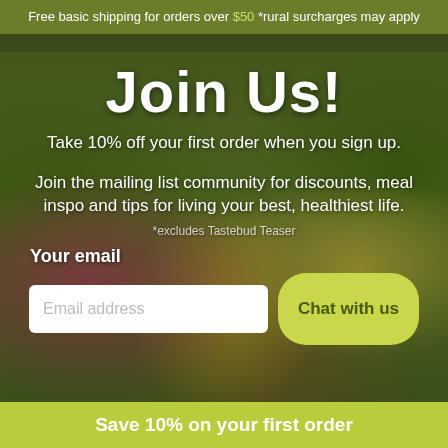Free basic shipping for orders over $50 *rural surcharges may apply
Join Us!
Take 10% off your first order when you sign up.
Join the mailing list community for discounts, meal inspo and tips for living your best, healthiest life.
*excludes Tastebud Teaser
Your email
Email address
Chat with us
Save 10% on your first order